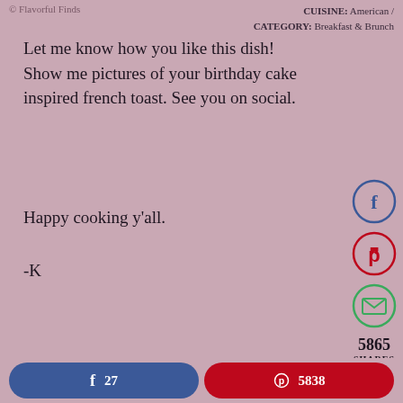© Flavorful Finds   CUISINE: American / CATEGORY: Breakfast & Brunch
Let me know how you like this dish! Show me pictures of your birthday cake inspired french toast. See you on social.
Happy cooking y'all.
-K
[Figure (infographic): Social sharing sidebar with Facebook (blue circle), Pinterest (red circle), and email/envelope (green circle) icon buttons, and a shares count of 5865 SHARES]
[Figure (photo): Photo of birthday cake inspired french toast on a white plate with white icing drizzle and colorful sprinkles/candles on a dark background]
f  27
p  5838